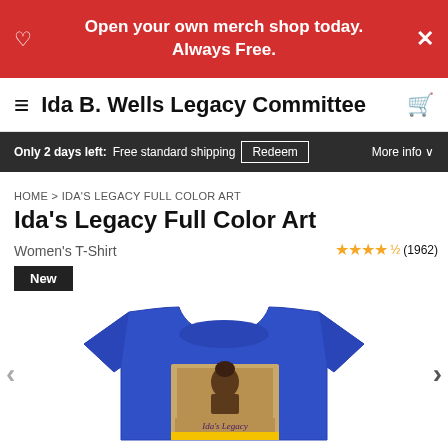Open your own merch shop today. Always Free.
Ida B. Wells Legacy Committee
Only 2 days left: Free standard shipping  Redeem  More info
HOME > IDA'S LEGACY FULL COLOR ART
Ida's Legacy Full Color Art
Women's T-Shirt
★★★★½ (1962)
New
[Figure (photo): Blue women's t-shirt with a sepia-toned Ida's Legacy graphic printed on front, showing historical portrait and script text 'Ida's Legacy' with yellow banner]